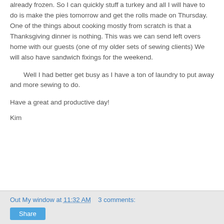already frozen.  So I can quickly stuff a turkey and all I will have to do is make the pies tomorrow and get the rolls made on Thursday.  One of the things about cooking mostly from scratch is that a Thanksgiving dinner is nothing.  This was we can send left overs home with our guests (one of my older sets of sewing clients) We will also have sandwich fixings for the weekend.
Well I had better get busy as I have a ton of laundry to put away and more sewing to do.
Have a great and productive day!
Kim
Out My window at 11:32 AM   3 comments: